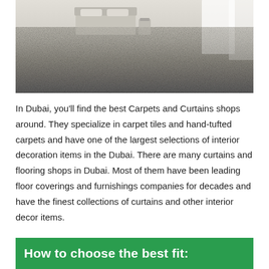[Figure (photo): Close-up photograph of a thick grey shag carpet in a bedroom, with a bed and white curtains visible in the background.]
In Dubai, you'll find the best Carpets and Curtains shops around. They specialize in carpet tiles and hand-tufted carpets and have one of the largest selections of interior decoration items in the Dubai. There are many curtains and flooring shops in Dubai. Most of them have been leading floor coverings and furnishings companies for decades and have the finest collections of curtains and other interior decor items.
How to choose the best fit: